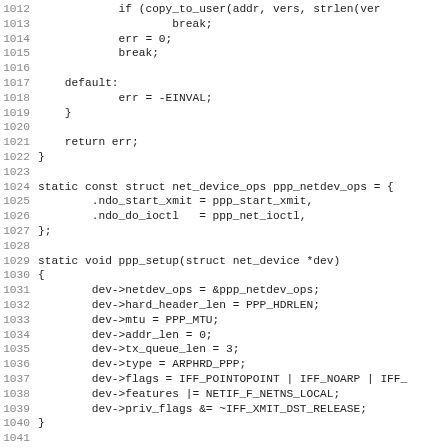Source code listing, lines 1012-1043, C kernel code for PPP network device setup